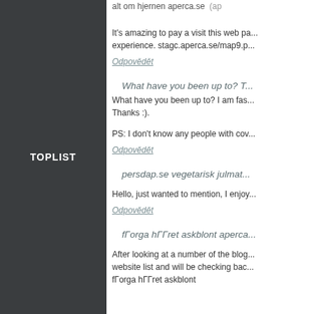TOPLIST
alt om hjernen aperca.se (ap...
It's amazing to pay a visit this web p... experience. stagc.aperca.se/map9.p...
Odpovědět
What have you been up to? T...
What have you been up to? I am fas... Thanks :).
PS: I don't know any people with cov...
Odpovědět
persdap.se vegetarisk julmat...
Hello, just wanted to mention, I enjoy...
Odpovědět
fΓorga hΓΓret askblont aperca...
After looking at a number of the blog... website list and will be checking bac... fΓorga hΓΓret askblont